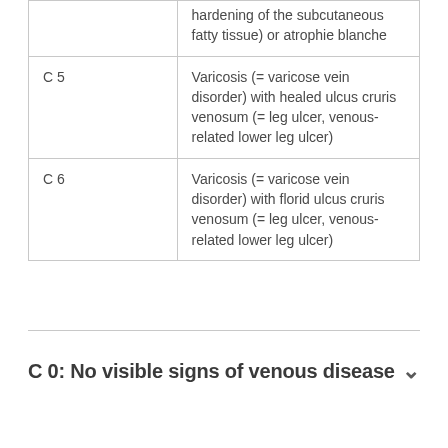|  |  |
| --- | --- |
|  | hardening of the subcutaneous fatty tissue) or atrophie blanche |
| C 5 | Varicosis (= varicose vein disorder) with healed ulcus cruris venosum (= leg ulcer, venous-related lower leg ulcer) |
| C 6 | Varicosis (= varicose vein disorder) with florid ulcus cruris venosum (= leg ulcer, venous-related lower leg ulcer) |
C 0: No visible signs of venous disease